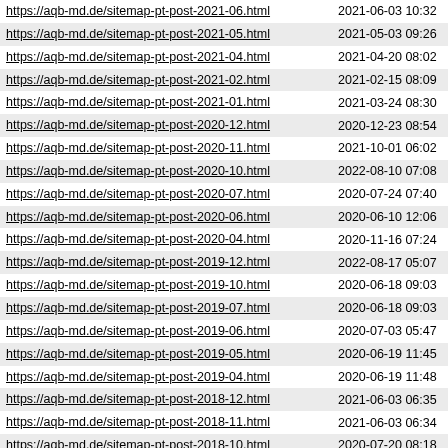| https://aqb-md.de/sitemap-pt-post-2021-06.html | 2021-06-03 10:32 |
| https://aqb-md.de/sitemap-pt-post-2021-05.html | 2021-05-03 09:26 |
| https://aqb-md.de/sitemap-pt-post-2021-04.html | 2021-04-20 08:02 |
| https://aqb-md.de/sitemap-pt-post-2021-02.html | 2021-02-15 08:09 |
| https://aqb-md.de/sitemap-pt-post-2021-01.html | 2021-03-24 08:30 |
| https://aqb-md.de/sitemap-pt-post-2020-12.html | 2020-12-23 08:54 |
| https://aqb-md.de/sitemap-pt-post-2020-11.html | 2021-10-01 06:02 |
| https://aqb-md.de/sitemap-pt-post-2020-10.html | 2022-08-10 07:08 |
| https://aqb-md.de/sitemap-pt-post-2020-07.html | 2020-07-24 07:40 |
| https://aqb-md.de/sitemap-pt-post-2020-06.html | 2020-06-10 12:06 |
| https://aqb-md.de/sitemap-pt-post-2020-04.html | 2020-11-16 07:24 |
| https://aqb-md.de/sitemap-pt-post-2019-12.html | 2022-08-17 05:07 |
| https://aqb-md.de/sitemap-pt-post-2019-10.html | 2020-06-18 09:03 |
| https://aqb-md.de/sitemap-pt-post-2019-07.html | 2020-06-18 09:03 |
| https://aqb-md.de/sitemap-pt-post-2019-06.html | 2020-07-03 05:47 |
| https://aqb-md.de/sitemap-pt-post-2019-05.html | 2020-06-19 11:45 |
| https://aqb-md.de/sitemap-pt-post-2019-04.html | 2020-06-19 11:48 |
| https://aqb-md.de/sitemap-pt-post-2018-12.html | 2021-06-03 06:35 |
| https://aqb-md.de/sitemap-pt-post-2018-11.html | 2021-06-03 06:34 |
| https://aqb-md.de/sitemap-pt-post-2018-10.html | 2020-07-20 08:18 |
| https://aqb-md.de/sitemap-pt-post-2018-09.html | 2020-07-20 08:13 |
| https://aqb-md.de/sitemap-pt-post-2018-08.html | 2020-06-19 12:11 |
| https://aqb-md.de/sitemap-pt-post-2018-06.html | 2020-06-19 12:06 |
| https://aqb-md.de/sitemap-pt-post-2018-04.html | 2020-06-19 12:27 |
| https://aqb-md.de/sitemap-pt-post-2018-02.html | 2020-06-19 12:29 |
| https://aqb-md.de/sitemap-pt-post-2017-12.html | 2020-06-19 12:28 |
| https://aqb-md.de/sitemap-pt-post-2017-10.html | 2020-06-19 12:25 |
| https://aqb-md.de/sitemap-pt-post-2017-09.html | 2020-06-19 12:25 |